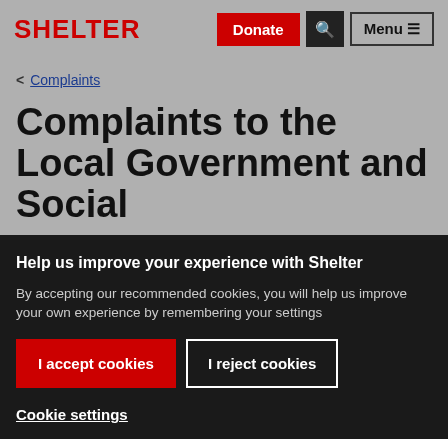SHELTER | Donate | Search | Menu
< Complaints
Complaints to the Local Government and Social
Help us improve your experience with Shelter
By accepting our recommended cookies, you will help us improve your own experience by remembering your settings
I accept cookies | I reject cookies
Cookie settings